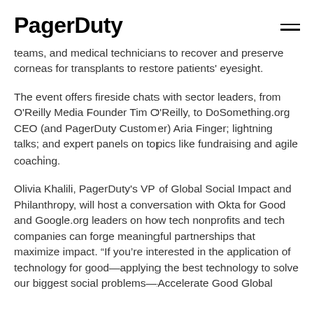PagerDuty
teams, and medical technicians to recover and preserve corneas for transplants to restore patients' eyesight.
The event offers fireside chats with sector leaders, from O'Reilly Media Founder Tim O'Reilly, to DoSomething.org CEO (and PagerDuty Customer) Aria Finger; lightning talks; and expert panels on topics like fundraising and agile coaching.
Olivia Khalili, PagerDuty's VP of Global Social Impact and Philanthropy, will host a conversation with Okta for Good and Google.org leaders on how tech nonprofits and tech companies can forge meaningful partnerships that maximize impact. "If you're interested in the application of technology for good—applying the best technology to solve our biggest social problems—Accelerate Good Global